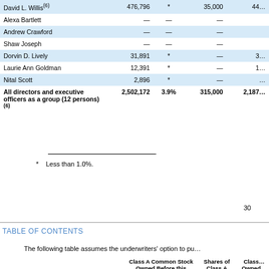| Name | Shares | % | Options | Total |
| --- | --- | --- | --- | --- |
| David L. Willis(6) | 476,796 | * | 35,000 | 44… |
| Alexa Bartlett | — | — | — |  |
| Andrew Crawford | — | — | — |  |
| Shaw Joseph | — | — | — |  |
| Dorvin D. Lively | 31,891 | * | — | 3… |
| Laurie Ann Goldman | 12,391 | * | — | 1… |
| Nital Scott | 2,896 | * | — | … |
| All directors and executive officers as a group (12 persons)(6) | 2,502,172 | 3.9% | 315,000 | 2,187… |
* Less than 1.0%.
30
TABLE OF CONTENTS
The following table assumes the underwriters' option to pu…
|  | Class A Common Stock Owned Before this Offering (on a fully exchanged and …) | Shares of Class A Common Stock Being Offered | Class… Owned… (on a f… |
| --- | --- | --- | --- |